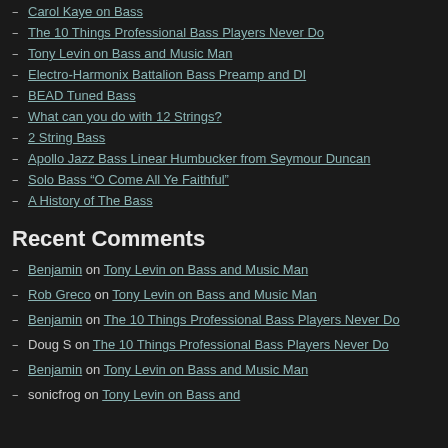Carol Kaye on Bass
The 10 Things Professional Bass Players Never Do
Tony Levin on Bass and Music Man
Electro-Harmonix Battalion Bass Preamp and DI
BEAD Tuned Bass
What can you do with 12 Strings?
2 String Bass
Apollo Jazz Bass Linear Humbucker from Seymour Duncan
Solo Bass "O Come All Ye Faithful"
A History of The Bass
Recent Comments
Benjamin on Tony Levin on Bass and Music Man
Rob Greco on Tony Levin on Bass and Music Man
Benjamin on The 10 Things Professional Bass Players Never Do
Doug S on The 10 Things Professional Bass Players Never Do
Benjamin on Tony Levin on Bass and Music Man
sonicfrog on Tony Levin on Bass and
Cardiff born bassist Pino Palladino… greatest bassists of all Time). His… almost undoubtedly responsible fo… this short video, Carrie Grant talks…
Share this:
Facebook
Twitter
Like this:
Loading...
Interview with Mic… Extraordinaire
Posted on September 25, 2008 » tagged: Michae…